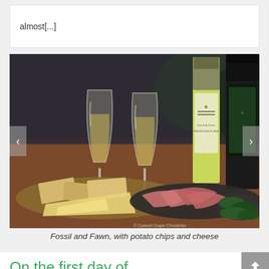almost[...]
[Figure (photo): Food and wine photo: two glasses of white wine, a bottle of Fossil and Fawn Oregon white wine, another dark bottle, with platters of potato chips, cheese, prosciutto/cured meat, and pickled gherkins on a wooden table. Watermark: © Coaxed Grape Chronicles]
Fossil and Fawn, with potato chips and cheese
On the first day of Christmas my true love gave to me a